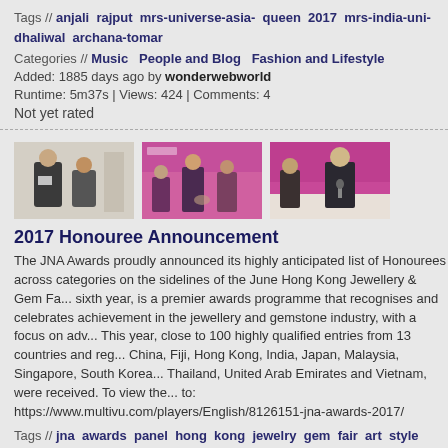Tags // anjali rajput mrs-universe-asia- queen 2017 mrs-india-uni- dhaliwal archana-tomar
Categories // Music  People and Blog  Fashion and Lifestyle
Added: 1885 days ago by wonderwebworld
Runtime: 5m37s | Views: 424 | Comments: 4
Not yet rated
[Figure (photo): Three thumbnail images from a video: people at an event with pink/magenta backdrop]
2017 Honouree Announcement
The JNA Awards proudly announced its highly anticipated list of Honourees across categories on the sidelines of the June Hong Kong Jewellery & Gem Fa... sixth year, is a premier awards programme that recognises and celebrates achievement in the jewellery and gemstone industry, with a focus on adv... This year, close to 100 highly qualified entries from 13 countries and reg... China, Fiji, Hong Kong, India, Japan, Malaysia, Singapore, South Korea... Thailand, United Arab Emirates and Vietnam, were received. To view the... to: https://www.multivu.com/players/English/8126151-jna-awards-2017/
Tags // jna awards panel hong kong jewelry gem fair art style
Categories // Miscellaneous
Added: 1886 days ago by MultiVuVideos
Runtime: 1m41s | Views: 361 | Comments: 1
Not yet rated